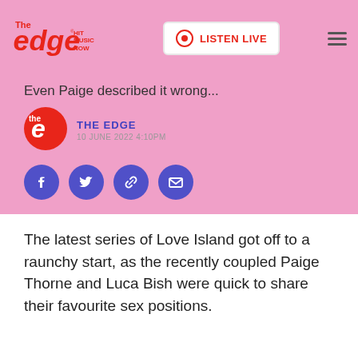[Figure (logo): The Edge Hit Music Now logo in red]
[Figure (other): Listen Live button with radio icon]
Even Paige described it wrong...
[Figure (logo): The Edge circular red logo icon]
THE EDGE
10 JUNE 2022 4:10PM
[Figure (other): Social sharing icons: Facebook, Twitter, Link, Email]
The latest series of Love Island got off to a raunchy start, as the recently coupled Paige Thorne and Luca Bish were quick to share their favourite sex positions.